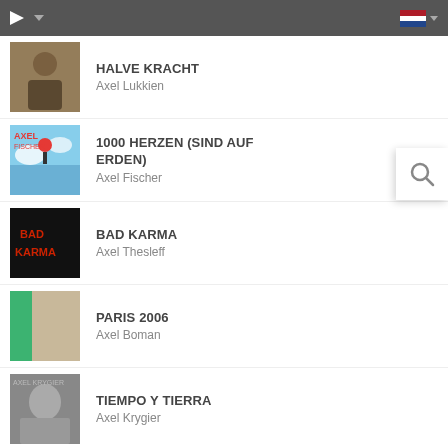Music streaming app header bar
HALVE KRACHT
Axel Lukkien
1000 HERZEN (SIND AUF ERDEN)
Axel Fischer
BAD KARMA
Axel Thesleff
PARIS 2006
Axel Boman
TIEMPO Y TIERRA
Axel Krygier
RAPIDO
Axel Dorothea